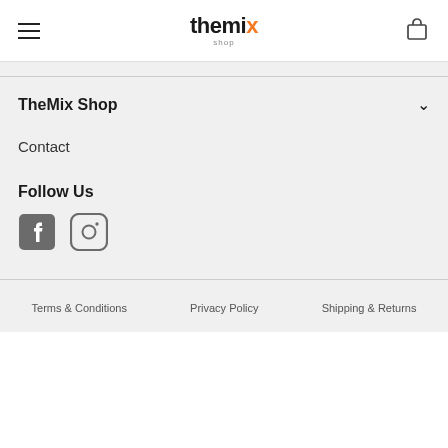TheMix Shop - Navigation header with hamburger menu and bag icon
TheMix Shop
Contact
Follow Us
[Figure (logo): Facebook and Instagram social media icons in grey]
Terms & Conditions   Privacy Policy   Shipping & Returns